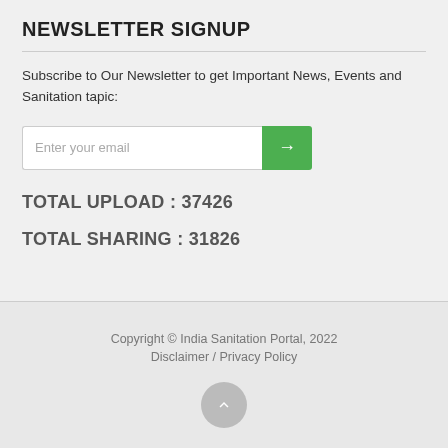NEWSLETTER SIGNUP
Subscribe to Our Newsletter to get Important News, Events and Sanitation tapic:
[Figure (other): Email input field with green arrow submit button]
TOTAL UPLOAD : 37426
TOTAL SHARING : 31826
Copyright © India Sanitation Portal, 2022
Disclaimer / Privacy Policy